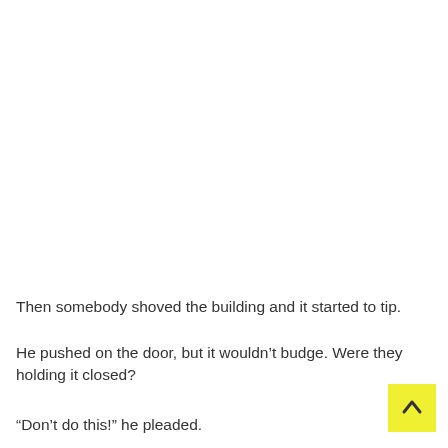Then somebody shoved the building and it started to tip.
He pushed on the door, but it wouldn't budge. Were they holding it closed?
“Don’t do this!” he pleaded.